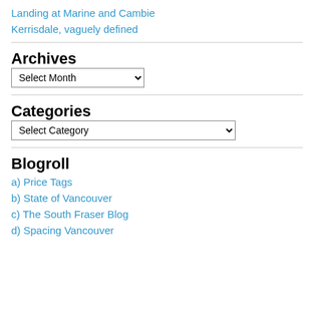Landing at Marine and Cambie
Kerrisdale, vaguely defined
Archives
Select Month (dropdown)
Categories
Select Category (dropdown)
Blogroll
a) Price Tags
b) State of Vancouver
c) The South Fraser Blog
d) Spacing Vancouver